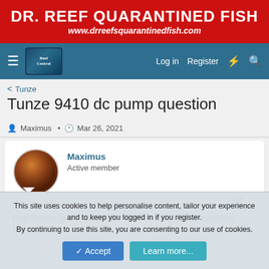[Figure (logo): DR. REEF QUARANTINED FISH advertisement banner with red background, white bold title text and italic URL]
Log in  Register
< Tunze
Tunze 9410 dc pump question
Maximus · Mar 26, 2021
Maximus
Active member
Mar 26, 2021  #1
Hey Roger, is the dc pump used on the 9410 a modified Sicce?
This site uses cookies to help personalise content, tailor your experience and to keep you logged in if you register.
By continuing to use this site, you are consenting to our use of cookies.
✓ Accept   Learn more...